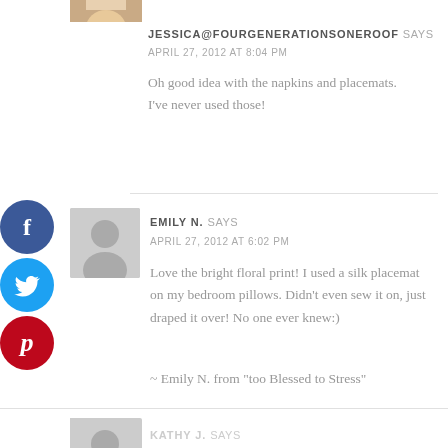[Figure (photo): Partial photo of Jessica (blonde hair, top cropped)]
JESSICA@FOURGENERATIONSONEROOF SAYS
APRIL 27, 2012 AT 8:04 PM
Oh good idea with the napkins and placemats. I've never used those!
[Figure (illustration): Facebook share button (blue circle with f)]
[Figure (illustration): Twitter share button (cyan circle with bird)]
[Figure (illustration): Pinterest share button (red circle with p)]
[Figure (photo): Default user avatar placeholder (grey circle silhouette)]
EMILY N. SAYS
APRIL 27, 2012 AT 6:02 PM
Love the bright floral print! I used a silk placemat on my bedroom pillows. Didn't even sew it on, just draped it over! No one ever knew:)
~ Emily N. from “too Blessed to Stress”
[Figure (photo): Partial avatar placeholder for Kathy J at bottom]
KATHY J. SAYS